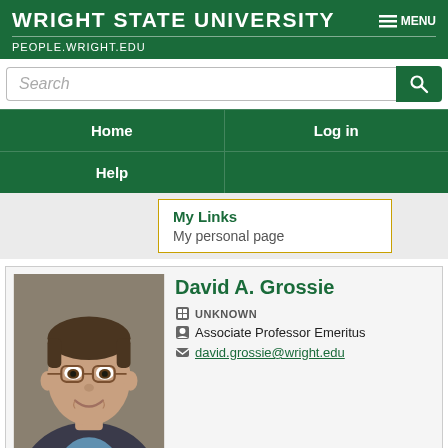WRIGHT STATE UNIVERSITY | MENU | PEOPLE.WRIGHT.EDU
Search
Home | Log in | Help
My Links
My personal page
[Figure (photo): Headshot photo of David A. Grossie, a middle-aged man with glasses and short hair, wearing a suit, smiling.]
David A. Grossie
UNKNOWN
Associate Professor Emeritus
david.grossie@wright.edu
Dr. Grossie received his BS in chemistry from Texas Lutheran College